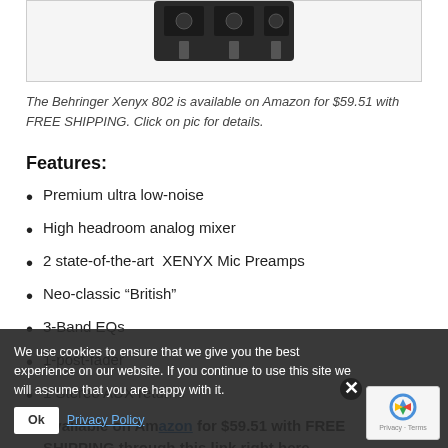[Figure (photo): Partial view of Behringer Xenyx 802 mixer at top of page, showing the top portion of the device against a white background inside a bordered image box.]
The Behringer Xenyx 802 is available on Amazon for $59.51 with FREE SHIPPING. Click on pic for details.
Features:
Premium ultra low-noise
High headroom analog mixer
2 state-of-the-art  XENYX Mic Preamps
Neo-classic “British”
3-Band EQs
1-post-fader
1 Stereo AUX returns
Available on Amazon for $59.51 with FREE SHIPPING through this link right here.
We use cookies to ensure that we give you the best experience on our website. If you continue to use this site we will assume that you are happy with it.